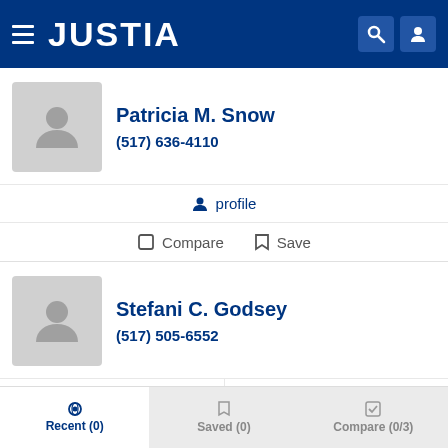JUSTIA
Patricia M. Snow
(517) 636-4110
profile
Compare  Save
Stefani C. Godsey
(517) 505-6552
profile   email
Compare  Save
Recent (0)   Saved (0)   Compare (0/3)